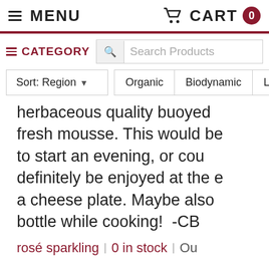MENU  CART 0
≡ CATEGORY  🔍 Search Products
Sort: Region ▾  Organic  Biodynamic  L
herbaceous quality buoyed fresh mousse. This would be to start an evening, or cou definitely be enjoyed at the e a cheese plate. Maybe also bottle while cooking!  -CB
rosé sparkling | 0 in stock | Ou